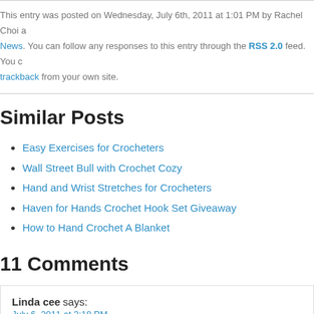This entry was posted on Wednesday, July 6th, 2011 at 1:01 PM by Rachel Choi a… News. You can follow any responses to this entry through the RSS 2.0 feed. You c… trackback from your own site.
Similar Posts
Easy Exercises for Crocheters
Wall Street Bull with Crochet Cozy
Hand and Wrist Stretches for Crocheters
Haven for Hands Crochet Hook Set Giveaway
How to Hand Crochet A Blanket
11 Comments
Linda cee says: July 6, 2011 at 3:18 PM
Well, I don't know the purpose but you certainly have to appreciate the… gone in it.
Reply